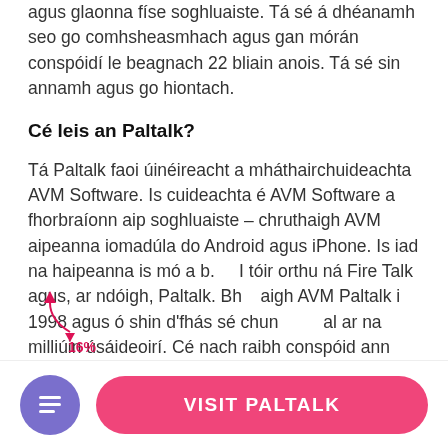agus glaonna físe soghluaiste. Tá sé á dhéanamh seo go comhsheasmhach agus gan mórán conspóidí le beagnach 22 bliain anois. Tá sé sin annamh agus go hiontach.
Cé leis an Paltalk?
Tá Paltalk faoi úinéireacht a mháthairchuideachta AVM Software. Is cuideachta é AVM Software a fhorbraíonn aip soghluaiste – chruthaigh AVM aipeanna iomadúla do Android agus iPhone. Is iad na haipeanna is mó a b. I tóir orthu ná Fire Talk agus, ar ndóigh, Paltalk. Bh aigh AVM Paltalk i 1998 agus ó shin d'fhás sé chun 16% al ar na milliúin úsáideoirí. Cé nach raibh conspóid ann faoi rith Paltalk, d'fhás sé ina ardán
[Figure (other): Annotation with up arrow, down-right arrow, and '16%' label overlaid on the text]
VISIT PALTALK